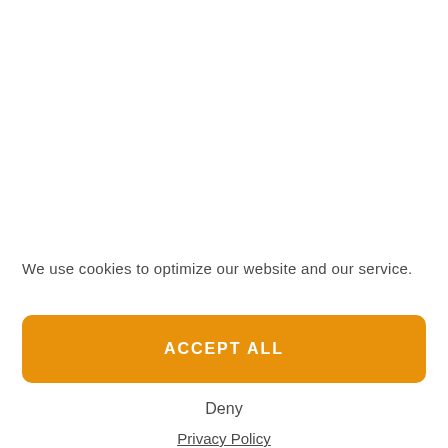We use cookies to optimize our website and our service.
ACCEPT ALL
Deny
Privacy Policy